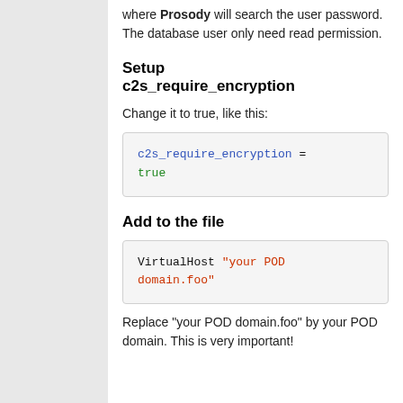where Prosody will search the user password. The database user only need read permission.
Setup c2s_require_encryption
Change it to true, like this:
c2s_require_encryption = true
Add to the file
VirtualHost "your POD domain.foo"
Replace "your POD domain.foo" by your POD domain. This is very important!